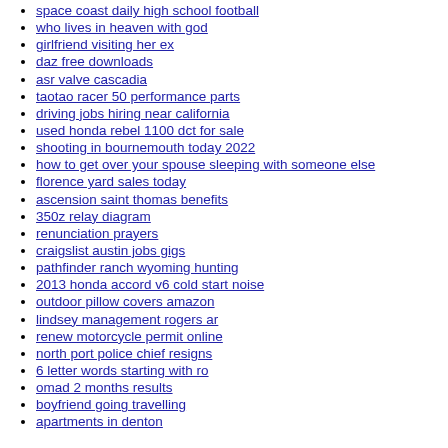space coast daily high school football
who lives in heaven with god
girlfriend visiting her ex
daz free downloads
asr valve cascadia
taotao racer 50 performance parts
driving jobs hiring near california
used honda rebel 1100 dct for sale
shooting in bournemouth today 2022
how to get over your spouse sleeping with someone else
florence yard sales today
ascension saint thomas benefits
350z relay diagram
renunciation prayers
craigslist austin jobs gigs
pathfinder ranch wyoming hunting
2013 honda accord v6 cold start noise
outdoor pillow covers amazon
lindsey management rogers ar
renew motorcycle permit online
north port police chief resigns
6 letter words starting with ro
omad 2 months results
boyfriend going travelling
apartments in denton